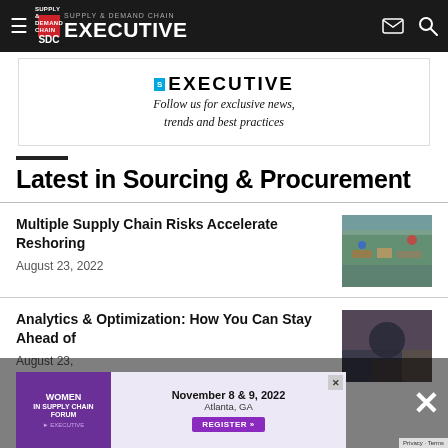Supply & Demand Chain Executive
[Figure (screenshot): SDC Executive advertisement banner: Follow us for exclusive news, trends and best practices]
Latest in Sourcing & Procurement
Multiple Supply Chain Risks Accelerate Reshoring
August 23, 2022
[Figure (photo): Aerial photo of port/logistics facility]
Analytics & Optimization: How You Can Stay Ahead of
August 23,
[Figure (photo): Photo related to analytics article]
[Figure (infographic): Women in Supply Chain Forum popup ad: November 8 & 9, 2022, Atlanta, GA. Register button.]